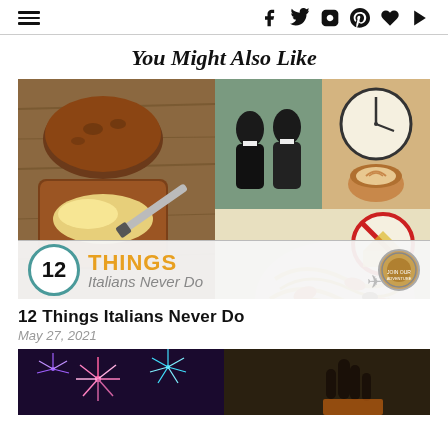Navigation and social icons bar
You Might Also Like
[Figure (photo): Collage of 5 images: bread with butter and knife, two men in suits outside, clock and latte, woman in blue holding scarf, spinning tops or blurred objects, and pasta with seafood and a no-cheese sign. Banner reads: 12 THINGS Italians Never Do with a circular logo and airplane illustration.]
12 Things Italians Never Do
May 27, 2021
[Figure (photo): Bottom portion: fireworks on left half, person with raised hand on dark background on right half.]